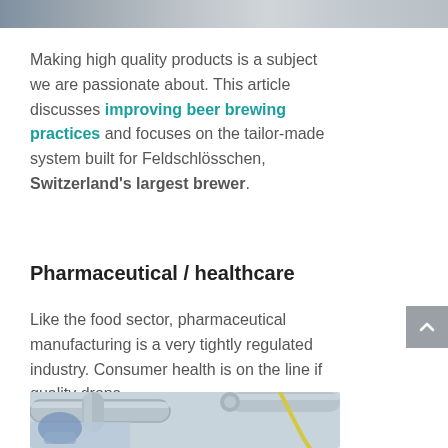[Figure (photo): Partial view of a photo at the top of the page, appears to show industrial or food/beverage equipment]
Making high quality products is a subject we are passionate about. This article discusses improving beer brewing practices and focuses on the tailor-made system built for Feldschlösschen, Switzerland's largest brewer.
Pharmaceutical / healthcare
Like the food sector, pharmaceutical manufacturing is a very tightly regulated industry. Consumer health is on the line if quality drops.
[Figure (photo): Photo showing a pharmaceutical worker in a cleanroom suit (hairnet, mask) near stainless steel pipes and tubing in a pharmaceutical manufacturing facility]